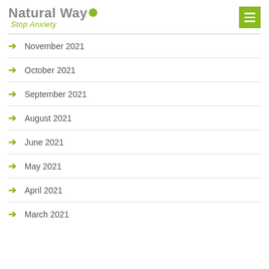Natural Way Stop Anxiety
November 2021
October 2021
September 2021
August 2021
June 2021
May 2021
April 2021
March 2021